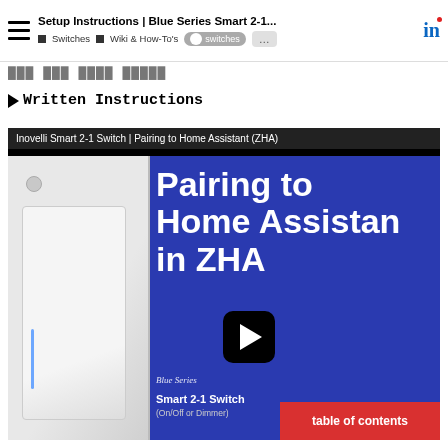Setup Instructions | Blue Series Smart 2-1... | Switches | Wiki & How-To's | switches | ...
►Written Instructions
[Figure (screenshot): Video thumbnail for 'Inovelli Smart 2-1 Switch | Pairing to Home Assistant (ZHA)' showing a blue background with white bold text 'Pairing to Home Assistant in ZHA', a play button, and a white smart switch device on the left. Bottom right shows a red 'table of contents' button and 'Blue Series Smart 2-1 Switch (On/Off or Dimmer)' text.]